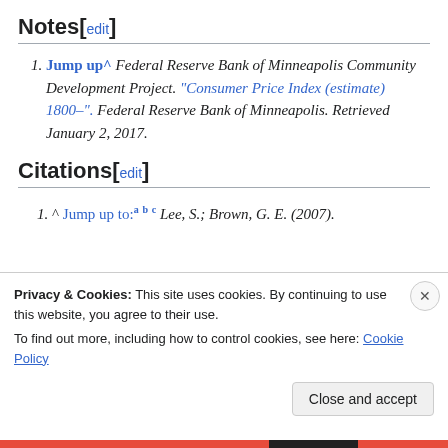Notes[edit]
Jump up^ Federal Reserve Bank of Minneapolis Community Development Project. "Consumer Price Index (estimate) 1800–". Federal Reserve Bank of Minneapolis. Retrieved January 2, 2017.
Citations[edit]
^ Jump up to: a b c Lee, S.; Brown, G. E. (2007).
Privacy & Cookies: This site uses cookies. By continuing to use this website, you agree to their use. To find out more, including how to control cookies, see here: Cookie Policy
Close and accept